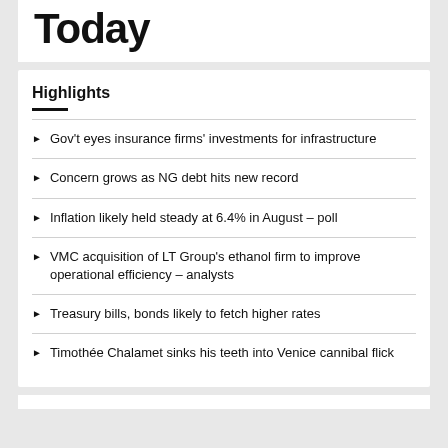Today
Highlights
Gov't eyes insurance firms' investments for infrastructure
Concern grows as NG debt hits new record
Inflation likely held steady at 6.4% in August – poll
VMC acquisition of LT Group's ethanol firm to improve operational efficiency – analysts
Treasury bills, bonds likely to fetch higher rates
Timothée Chalamet sinks his teeth into Venice cannibal flick